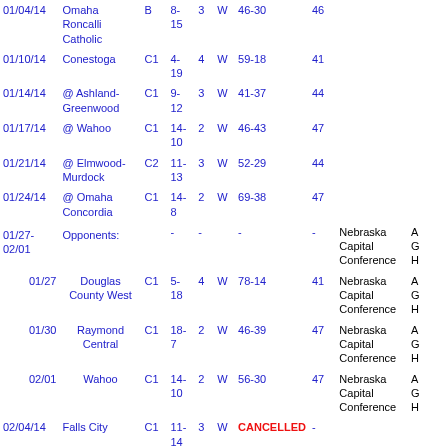| Date | Opponent | Class | Record | Q | W/L | Score | Pts | Conference | Extra |
| --- | --- | --- | --- | --- | --- | --- | --- | --- | --- |
| 01/04/14 | Omaha Roncalli Catholic | B | 8-15 | 3 | W | 46-30 | 46 |  |  |
| 01/10/14 | Conestoga | C1 | 4-19 | 4 | W | 59-18 | 41 |  |  |
| 01/14/14 | @ Ashland-Greenwood | C1 | 9-12 | 3 | W | 41-37 | 44 |  |  |
| 01/17/14 | @ Wahoo | C1 | 14-10 | 2 | W | 46-43 | 47 |  |  |
| 01/21/14 | @ Elmwood-Murdock | C2 | 11-13 | 3 | W | 52-29 | 44 |  |  |
| 01/24/14 | @ Omaha Concordia | C1 | 14-8 | 2 | W | 69-38 | 47 |  |  |
| 01/27-02/01 | Opponents: | - | - | - | - | - | Nebraska Capital Conference | A G H |
| 01/27 | Douglas County West | C1 | 5-18 | 4 | W | 78-14 | 41 | Nebraska Capital Conference | A G H |
| 01/30 | Raymond Central | C1 | 18-7 | 2 | W | 46-39 | 47 | Nebraska Capital Conference | A G H |
| 02/01 | Wahoo | C1 | 14-10 | 2 | W | 56-30 | 47 | Nebraska Capital Conference | A G H |
| 02/04/14 | Falls City | C1 | 11-14 | 3 | W | CANCELLED | - |  |  |
| 02/07/14 | @ Syracuse | C1 | 19-7 | 2 | W | 46-40 | 47 |  |  |